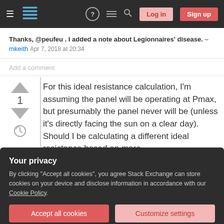Stack Exchange navigation bar with Log in and Sign up buttons
Thanks, @peufeu . I added a note about Legionnaires' disease. – mkeith Apr 7, 2018 at 20:34
Add a comment
For this ideal resistance calculation, I'm assuming the panel will be operating at Pmax, but presumably the panel never will be (unless it's directly facing the sun on a clear day). Should I be calculating a different ideal resistance based on more
Your privacy
By clicking "Accept all cookies", you agree Stack Exchange can store cookies on your device and disclose information in accordance with our Cookie Policy.
Accept all cookies
Customize settings
to create heat, a shunt regulator would be